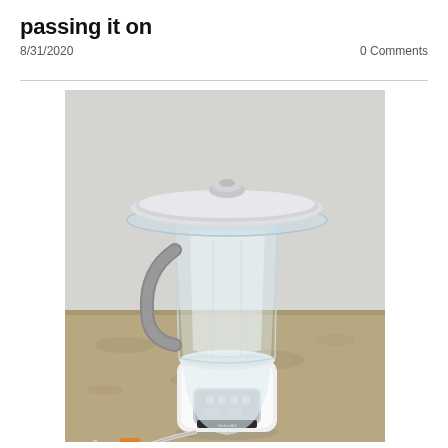passing it on
8/31/2020	0 Comments
[Figure (photo): A white KitchenAid blender with a clear plastic pitcher and gray handle sitting on a granite countertop against a light gray wall. The blender has a control panel on the base with buttons, and a power cord is visible at the bottom left.]